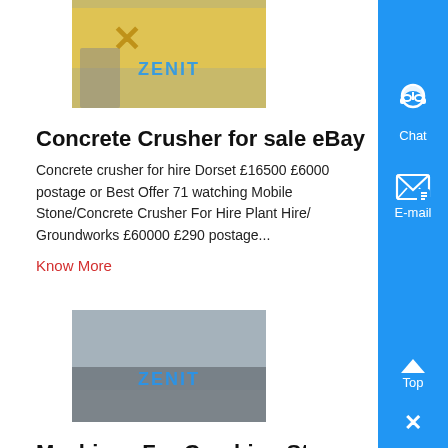[Figure (photo): Industrial machinery/crane image with ZENIT watermark, yellow girder structure]
Concrete Crusher for sale eBay
Concrete crusher for hire Dorset £16500 £6000 postage or Best Offer 71 watching Mobile Stone/Concrete Crusher For Hire Plant Hire/ Groundworks £60000 £290 postage...
Know More
[Figure (photo): Stone crushing machine outdoor site image with ZENIT watermark]
Machines For Crushing Stones For Sale
stone crushing machine buy - fs-hollandnl Used conveying mini